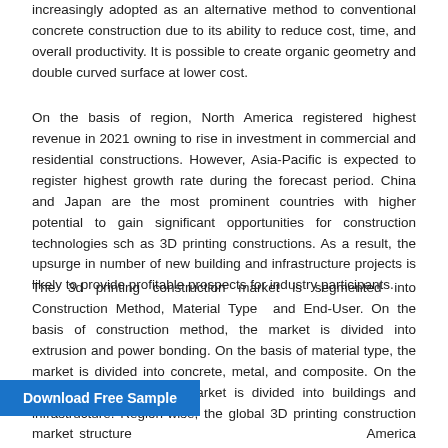increasingly adopted as an alternative method to conventional concrete construction due to its ability to reduce cost, time, and overall productivity. It is possible to create organic geometry and double curved surface at lower cost.
On the basis of region, North America registered highest revenue in 2021 owning to rise in investment in commercial and residential constructions. However, Asia-Pacific is expected to register highest growth rate during the forecast period. China and Japan are the most prominent countries with higher potential to gain significant opportunities for construction technologies sch as 3D printing constructions. As a result, the upsurge in number of new building and infrastructure projects is likely to provide profitable prospects for industry participants.
The 3d printing construction market is segmented into Construction Method, Material Type and End-User. On the basis of construction method, the market is divided into extrusion and power bonding. On the basis of material type, the market is divided into concrete, metal, and composite. On the basis of end user, the market is divided into buildings and infrastructure. Region-wise, the global 3D printing construction market structure is analyzed conducted across North America (the U.S., Canada, and Mexico), Europe (Germany, France, UK, Italy, and rest of Europe), Asia-Pacific (China, Japan, India, South Korea,
Download Free Sample